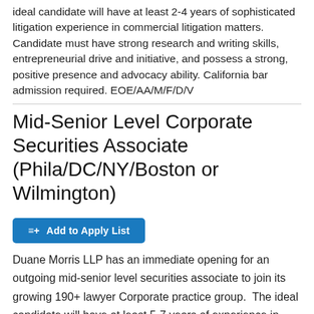ideal candidate will have at least 2-4 years of sophisticated litigation experience in commercial litigation matters. Candidate must have strong research and writing skills, entrepreneurial drive and initiative, and possess a strong, positive presence and advocacy ability. California bar admission required. EOE/AA/M/F/D/V
Mid-Senior Level Corporate Securities Associate (Phila/DC/NY/Boston or Wilmington)
≡+ Add to Apply List
Duane Morris LLP has an immediate opening for an outgoing mid-senior level securities associate to join its growing 190+ lawyer Corporate practice group.  The ideal candidate will have at least 5-7 years of experience in securities (including public offerings and Exchange Act filings). The candidate will have the opportunity to work on